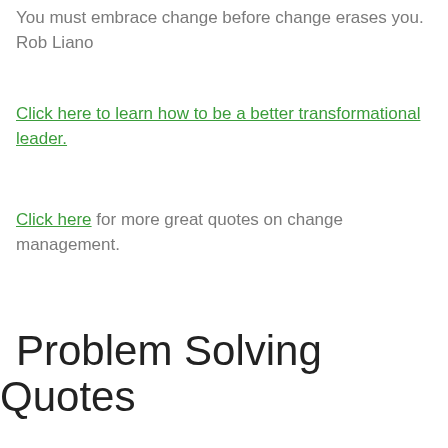You must embrace change before change erases you. Rob Liano
Click here to learn how to be a better transformational leader.
Click here for more great quotes on change management.
Problem Solving Quotes